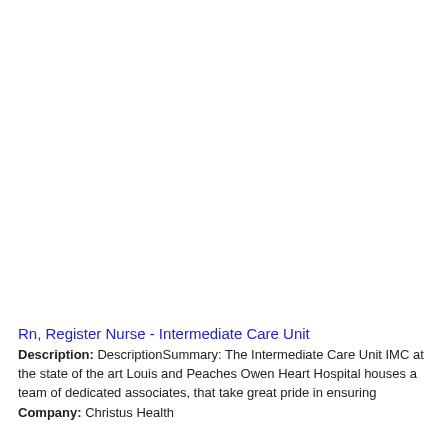Rn, Register Nurse - Intermediate Care Unit
Description: DescriptionSummary: The Intermediate Care Unit IMC at the state of the art Louis and Peaches Owen Heart Hospital houses a team of dedicated associates, that take great pride in ensuring
Company: Christus Health